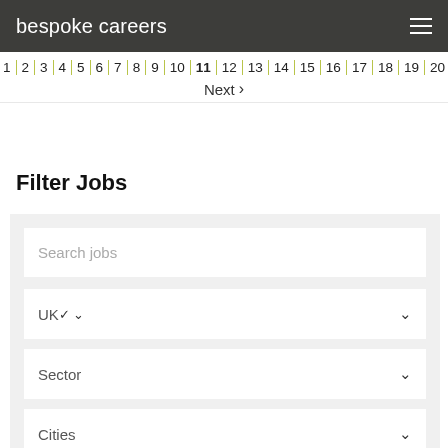bespoke careers
1 2 3 4 5 6 7 8 9 10 11 12 13 14 15 16 17 18 19 20 Next >
Filter Jobs
Search jobs
UK
Sector
Cities